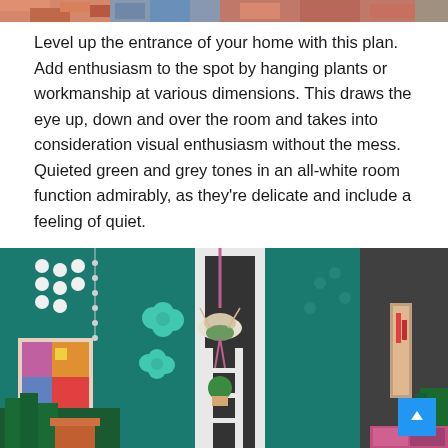[Figure (photo): Colorful decorative home entrance photo strip at top of page]
Level up the entrance of your home with this plan. Add enthusiasm to the spot by hanging plants or workmanship at various dimensions. This draws the eye up, down and over the room and takes into consideration visual enthusiasm without the mess. Quieted green and grey tones in an all-white room function admirably, as they’re delicate and include a feeling of quiet.
[Figure (photo): Interior home entrance with teal and dark grey walls, hanging plants in macrame holders, colorful wall art, white French doors, and various boho decorations]